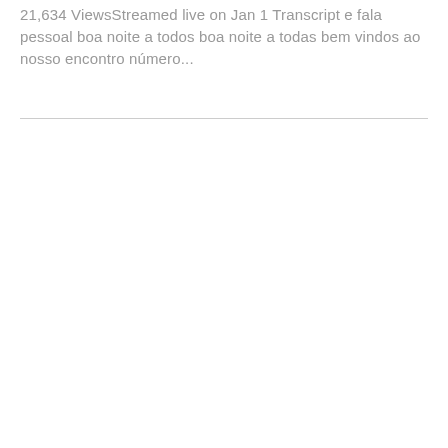21,634 ViewsStreamed live on Jan 1 Transcript e fala pessoal boa noite a todos boa noite a todas bem vindos ao nosso encontro número...